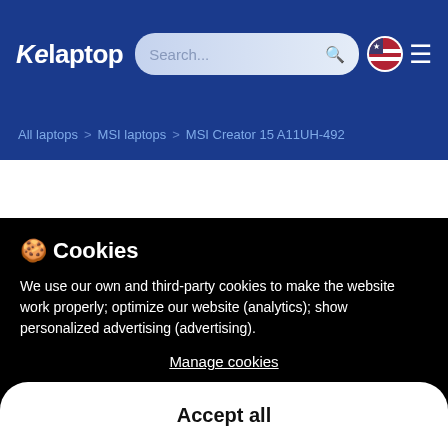Kelaptop — Search bar, flag icon, menu
All laptops > MSI laptops > MSI Creator 15 A11UH-492
[Figure (screenshot): Partially visible white product card]
🍪 Cookies
We use our own and third-party cookies to make the website work properly; optimize our website (analytics); show personalized advertising (advertising).
Manage cookies
Accept all